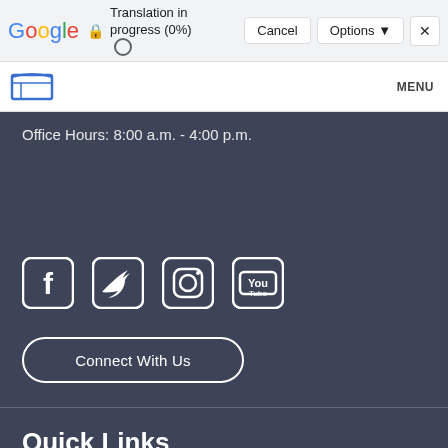[Figure (screenshot): Google Translate browser bar showing 'Translation in progress (0%)' with Cancel and Options buttons and X close button]
[Figure (screenshot): Website navigation bar with open book logo and MENU text on right]
Office Hours: 8:00 a.m. - 4:00 p.m.
[Figure (infographic): Social media icons: Facebook, Twitter, Instagram, YouTube in white on dark background]
Connect With Us
Quick Links
Blog
Board Documents
Privacy & ...